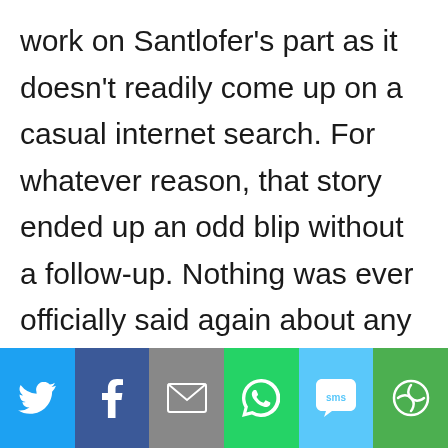work on Santlofer's part as it doesn't readily come up on a casual internet search. For whatever reason, that story ended up an odd blip without a follow-up. Nothing was ever officially said again about any theft. Not until the story that would not
[Figure (infographic): Social sharing bar with six buttons: Twitter (blue bird icon), Facebook (dark blue f icon), Email (grey envelope icon), WhatsApp (green phone icon), SMS (light blue sms icon), More (green circular arrows icon)]